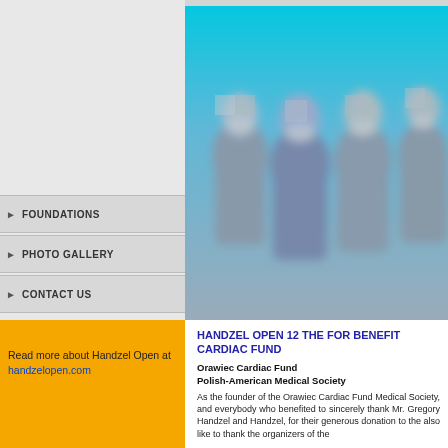[Figure (photo): Group of medical professionals in surgical gowns and masks, blurred/pixelated faces, blue-toned background]
FOUNDATIONS
PHOTO GALLERY
CONTACT US
Read more about Handzel Open at handzelopen.com
HANDZEL OPEN 12 THE FOR BENEFIT CARDIAC FUND
Orawiec Cardiac Fund
Polish-American Medical Society
As the founder of the Orawiec Cardiac Fund Medical Society, and everybody who benefited to sincerely thank Mr. Gregory Handzel and Handzel, for their generous donation to the also like to thank the organizers of the